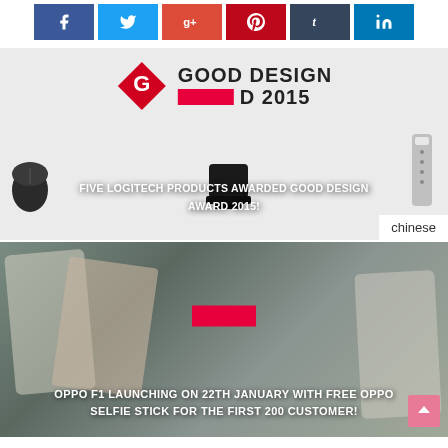[Figure (other): Social media share buttons: Facebook (f), Twitter, Google+, Pinterest, Tumblr, LinkedIn]
[Figure (other): Good Design Award 2015 banner with Logitech products and category badge. Title: FIVE LOGITECH PRODUCTS AWARDED GOOD DESIGN AWARD 2015!]
chinese
[Figure (photo): Oppo F1 phone on desk with accessories. Category badge overlay. Title: OPPO F1 LAUNCHING ON 22TH JANUARY WITH FREE OPPO SELFIE STICK FOR THE FIRST 200 CUSTOMER!]